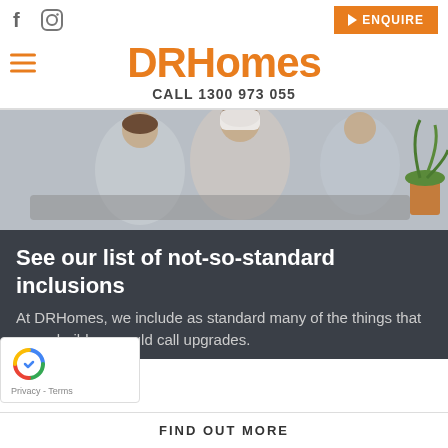f  (instagram icon)  |  ENQUIRE
DRHomes
CALL 1300 973 055
[Figure (photo): Photo of people (possibly family or couple) in a playful moment on a bed, with a plant in the background]
See our list of not-so-standard inclusions
At DRHomes, we include as standard many of the things that some builders would call upgrades.
FIND OUT MORE